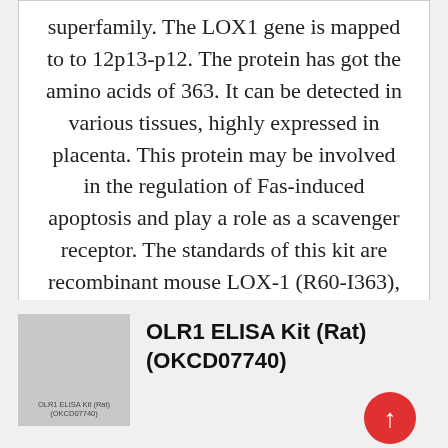superfamily. The LOX1 gene is mapped to to 12p13-p12. The protein has got the amino acids of 363. It can be detected in various tissues, highly expressed in placenta. This protein may be involved in the regulation of Fas-induced apoptosis and play a role as a scavenger receptor. The standards of this kit are recombinant mouse LOX-1 (R60-I363), with molecular weight of 36.3kDa.;Species reactivity: Mouse;Application: ELISA;Assay info: ;Sensitivity: < 5.4pg/mL
[Figure (photo): Product image placeholder for OLR1 ELISA Kit (Rat) (OKCD07740)]
OLR1 ELISA Kit (Rat) (OKCD07740)